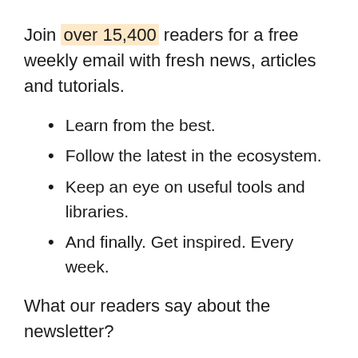Join over 15,400 readers for a free weekly email with fresh news, articles and tutorials.
Learn from the best.
Follow the latest in the ecosystem.
Keep an eye on useful tools and libraries.
And finally. Get inspired. Every week.
What our readers say about the newsletter?
“Loved that pigeon article! Thanks!”
“I really liked the "Modern Microprocessors - A 90-Minute